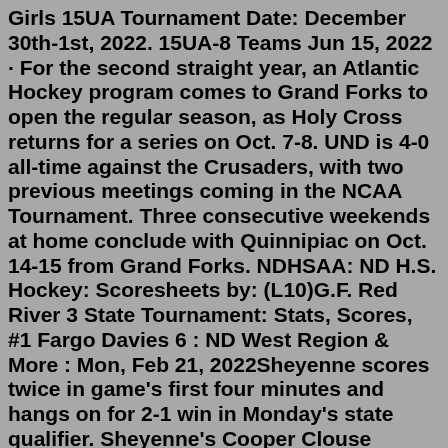Girls 15UA Tournament Date: December 30th-1st, 2022. 15UA-8 Teams Jun 15, 2022 · For the second straight year, an Atlantic Hockey program comes to Grand Forks to open the regular season, as Holy Cross returns for a series on Oct. 7-8. UND is 4-0 all-time against the Crusaders, with two previous meetings coming in the NCAA Tournament. Three consecutive weekends at home conclude with Quinnipiac on Oct. 14-15 from Grand Forks. NDHSAA: ND H.S. Hockey: Scoresheets by: (L10)G.F. Red River 3 State Tournament: Stats, Scores, #1 Fargo Davies 6 : ND West Region & More : Mon, Feb 21, 2022Sheyenne scores twice in game's first four minutes and hangs on for 2-1 win in Monday's state qualifier. Sheyenne's Cooper Clouse pushes the puck up the ice during the Mustangs' game against Grand...TOURNAMENT REGISTRATION 2022-2023. We HAVE 2 open spots for 12UA and 1 open spot for SQT A. Waitlists have been created for the following tournaments: PWB2, PWB1, PTM B1, PTM A1, PTM B2, PWA/A A, SQT...